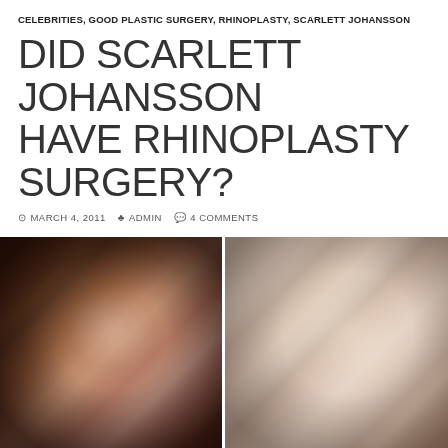CELEBRITIES, GOOD PLASTIC SURGERY, RHINOPLASTY, SCARLETT JOHANSSON
DID SCARLETT JOHANSSON HAVE RHINOPLASTY SURGERY?
MARCH 4, 2011  ADMIN  4 COMMENTS
[Figure (photo): Side-by-side before and after comparison photos of Scarlett Johansson. Left photo shows her as a young teenager with dark hair, hoop earrings, and pink lipstick smiling at camera. Right photo shows her as an adult with long blonde wavy hair, chandelier earrings, smiling at camera.]